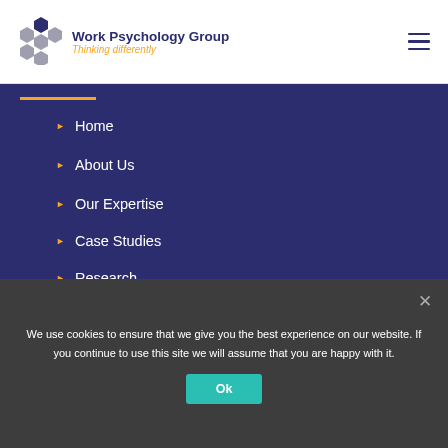[Figure (logo): Work Psychology Group honeycomb logo with dark navy and grey hexagons]
Work Psychology Group
Thinking differently
Home
About Us
Our Expertise
Case Studies
Research
Blog
We use cookies to ensure that we give you the best experience on our website. If you continue to use this site we will assume that you are happy with it.